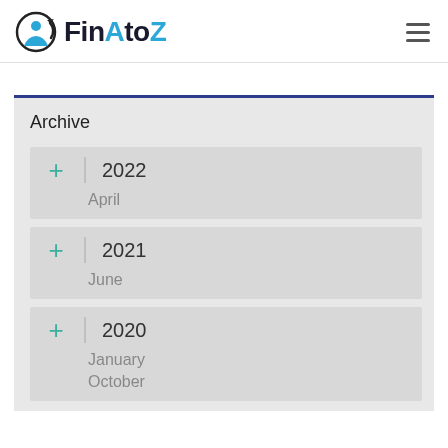FinAtoZ
Archive
+ 2022 | April
+ 2021 | June
+ 2020 | January | October